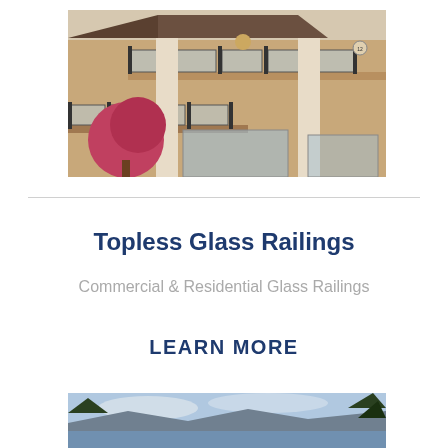[Figure (photo): Exterior photo of a multi-story residential/commercial building with glass railings on balconies, beige stucco exterior, dark posts, and a red tree in the foreground]
Topless Glass Railings
Commercial & Residential Glass Railings
LEARN MORE
[Figure (photo): Partial photo showing a landscape with water/lake in background and trees, likely showing a railing installation site]